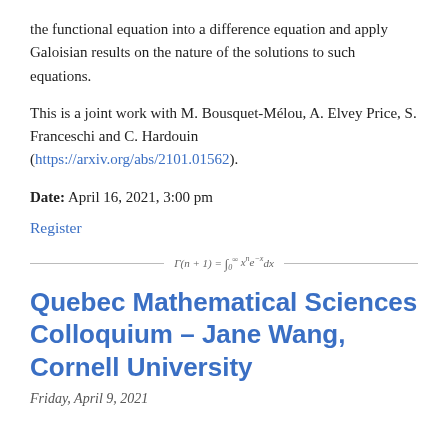the functional equation into a difference equation and apply Galoisian results on the nature of the solutions to such equations.
This is a joint work with M. Bousquet-Mélou, A. Elvey Price, S. Franceschi and C. Hardouin (https://arxiv.org/abs/2101.01562).
Date: April 16, 2021, 3:00 pm
Register
Quebec Mathematical Sciences Colloquium – Jane Wang, Cornell University
Friday, April 9, 2021